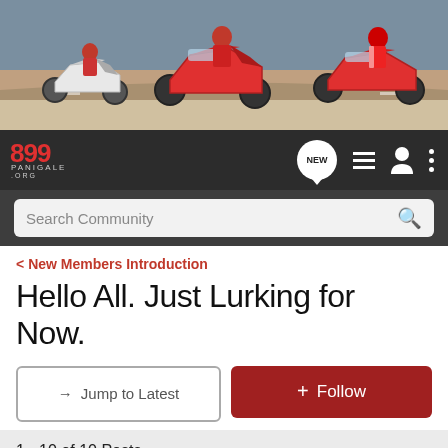[Figure (photo): Banner image showing three Ducati motorcycles racing on a track — a white one on the left, a red one in center, and a red one on the right with rider in red suit]
[Figure (logo): 899 Panigale .org logo in red on dark navbar, alongside navigation icons: NEW speech bubble, list icon, user icon, dots menu]
Search Community
< New Members Introduction
Hello All. Just Lurking for Now.
→ Jump to Latest
+ Follow
1 - 10 of 10 Posts
Talus · Registered
Joined Nov 25, 2013 · 8 Posts